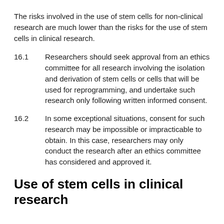The risks involved in the use of stem cells for non-clinical research are much lower than the risks for the use of stem cells in clinical research.
16.1	Researchers should seek approval from an ethics committee for all research involving the isolation and derivation of stem cells or cells that will be used for reprogramming, and undertake such research only following written informed consent.
16.2	In some exceptional situations, consent for such research may be impossible or impracticable to obtain. In this case, researchers may only conduct the research after an ethics committee has considered and approved it.
Use of stem cells in clinical research